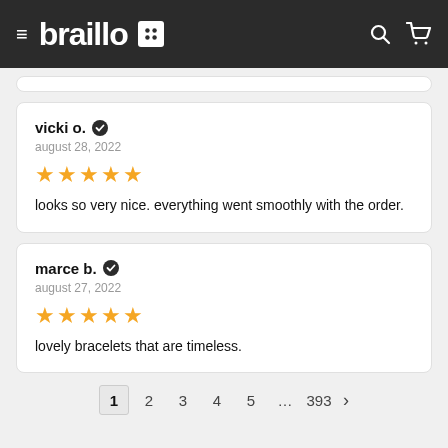[Figure (screenshot): Braillo website navigation bar with hamburger menu, braillo logo with dot-grid icon, search and cart icons on dark background]
vicki o. ✔
august 28, 2022
★★★★★
looks so very nice. everything went smoothly with the order.
marce b. ✔
august 27, 2022
★★★★★
lovely bracelets that are timeless.
1 2 3 4 5 … 393 >